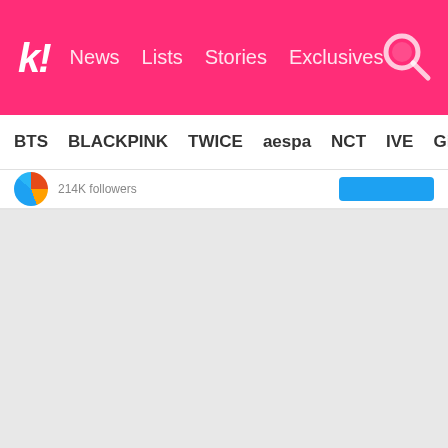k! News Lists Stories Exclusives
BTS BLACKPINK TWICE aespa NCT IVE Girls'
[Figure (screenshot): Twitter/social media embed showing avatar, follower count text, and a blue follow button]
[Figure (other): Large grey empty content area below the Twitter embed]